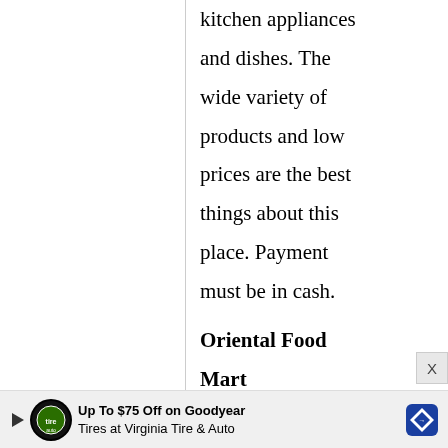kitchen appliances and dishes. The wide variety of products and low prices are the best things about this place. Payment must be in cash.
Oriental Food Mart
633 W. Wisconsin Ave.
[Figure (other): Advertisement banner: Up To $75 Off on Goodyear Tires at Virginia Tire & Auto, with play button, circular logo, and Goodyear diamond logo]